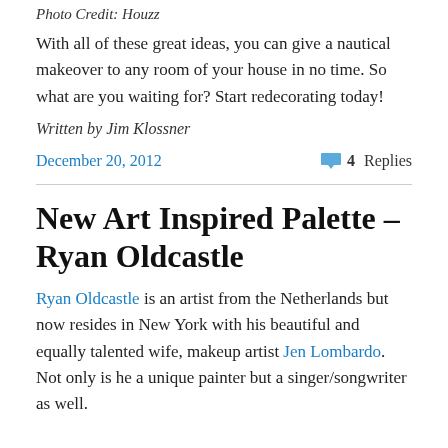Photo Credit: Houzz
With all of these great ideas, you can give a nautical makeover to any room of your house in no time. So what are you waiting for? Start redecorating today!
Written by Jim Klossner
December 20, 2012   4 Replies
New Art Inspired Palette – Ryan Oldcastle
Ryan Oldcastle is an artist from the Netherlands but now resides in New York with his beautiful and equally talented wife, makeup artist Jen Lombardo. Not only is he a unique painter but a singer/songwriter as well.